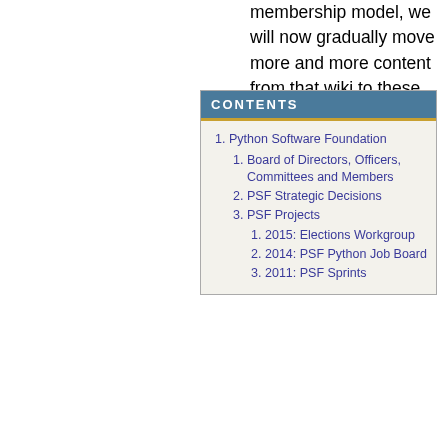membership model, we will now gradually move more and more content from that wiki to these public pages.
1. Python Software Foundation
1.1. Board of Directors, Officers, Committees and Members
1.2. PSF Strategic Decisions
1.3. PSF Projects
1.3.1. 2015: Elections Workgroup
1.3.2. 2014: PSF Python Job Board
1.3.3. 2011: PSF Sprints